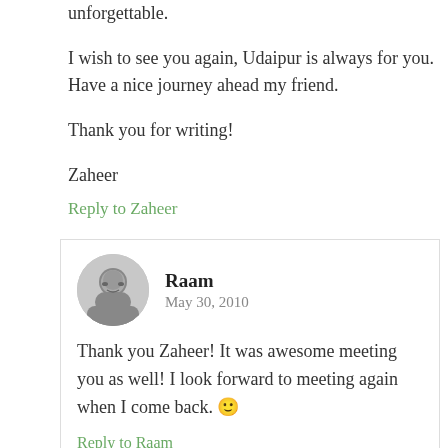unforgettable.
I wish to see you again, Udaipur is always for you. Have a nice journey ahead my friend.
Thank you for writing!
Zaheer
Reply to Zaheer
Raam
May 30, 2010
Thank you Zaheer! It was awesome meeting you as well! I look forward to meeting again when I come back. 🙂
Reply to Raam